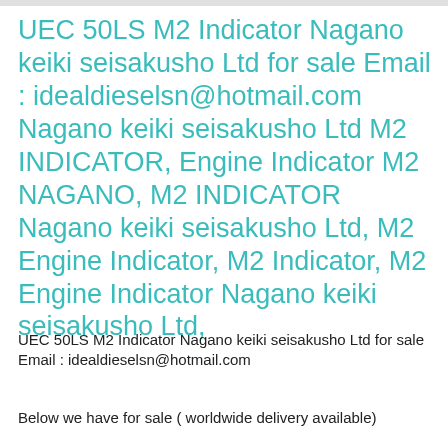UEC 50LS M2 Indicator Nagano keiki seisakusho Ltd for sale Email : idealdieselsn@hotmail.com Nagano keiki seisakusho Ltd M2 INDICATOR, Engine Indicator M2 NAGANO, M2 INDICATOR Nagano keiki seisakusho Ltd, M2 Engine Indicator, M2 Indicator, M2 Engine Indicator Nagano keiki seisakusho Ltd,
UEC 50LS M2 Indicator Nagano keiki seisakusho Ltd for sale Email : idealdieselsn@hotmail.com
Below we have for sale ( worldwide delivery available)